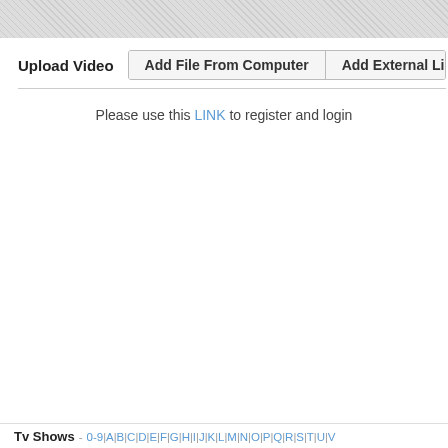Upload Video
Add File From Computer | Add External Link
Please use this LINK to register and login
Tv Shows - 0-9 | A | B | C | D | E | F | G | H | I | J | K | L | M | N | O | P | Q | R | S | T | U | V